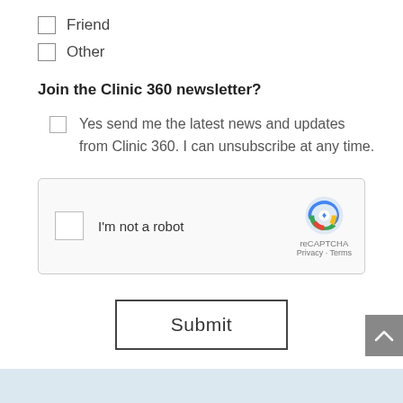☐ Friend
☐ Other
Join the Clinic 360 newsletter?
Yes send me the latest news and updates from Clinic 360. I can unsubscribe at any time.
[Figure (other): reCAPTCHA widget with checkbox labeled I'm not a robot, logo, Privacy and Terms links]
Submit